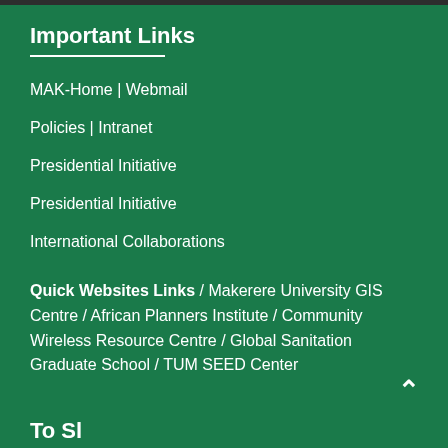Important Links
MAK-Home | Webmail
Policies | Intranet
Presidential Initiative
Presidential Initiative
International Collaborations
Quick Websites Links / Makerere University GIS Centre / African Planners Institute / Community Wireless Resource Centre / Global Sanitation Graduate School / TUM SEED Center
Top Sl...